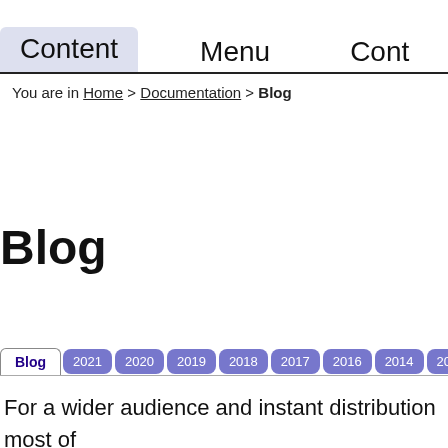Content   Menu   Cont
You are in Home > Documentation > Blog
Blog
Blog  2021  2020  2019  2018  2017  2016  2014  2013
For a wider audience and instant distribution most of thoughts go straight to Facebook. But for extending th thoughts, and to reach people who understand where